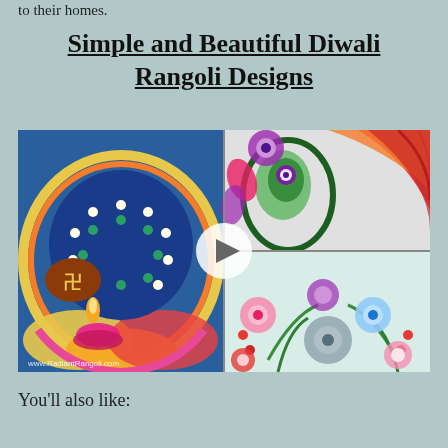to their homes.
Simple and Beautiful Diwali Rangoli Designs
[Figure (photo): Video thumbnail showing four Diwali Rangoli designs in a 2x2 grid. Left half shows a large circular rangoli with a diya (oil lamp) with a swastika symbol on blue background with candles arranged in a circle, and colorful border patterns. Top right shows a peacock-feather or paisley rangoli in purple, green and red/orange colors. Bottom right shows a flower rangoli design with colorful flowers, leaves and small decorative elements on a light background. A circular play button is overlaid in the center. Watermark reads www.RadiantRangoli.com]
You'll also like: